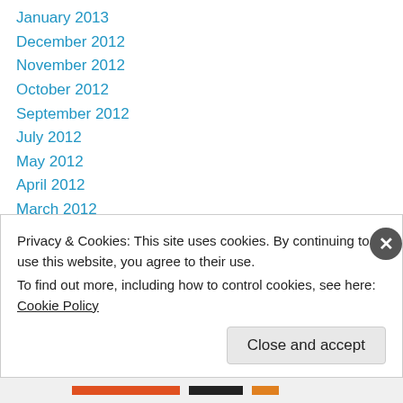January 2013
December 2012
November 2012
October 2012
September 2012
July 2012
May 2012
April 2012
March 2012
February 2012
January 2012
December 2011
November 2011
Privacy & Cookies: This site uses cookies. By continuing to use this website, you agree to their use. To find out more, including how to control cookies, see here: Cookie Policy
Close and accept